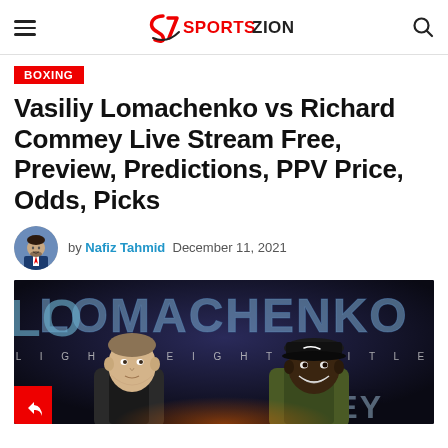SportsZion
BOXING
Vasiliy Lomachenko vs Richard Commey Live Stream Free, Preview, Predictions, PPV Price, Odds, Picks
by Nafiz Tahmid  December 11, 2021
[Figure (photo): Photo of Vasiliy Lomachenko and Richard Commey standing in front of a Lomachenko Lightweight Title banner backdrop at a press event]